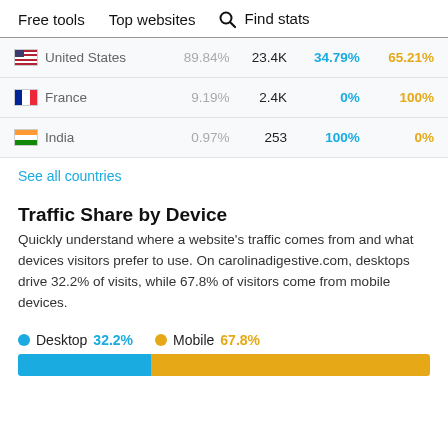Free tools   Top websites   🔍 Find stats
| Country | Share% | Visits | Desktop% | Mobile% |
| --- | --- | --- | --- | --- |
| United States | 89.84% | 23.4K | 34.79% | 65.21% |
| France | 9.19% | 2.4K | 0% | 100% |
| India | 0.97% | 253 | 100% | 0% |
See all countries
Traffic Share by Device
Quickly understand where a website's traffic comes from and what devices visitors prefer to use. On carolinadigestive.com, desktops drive 32.2% of visits, while 67.8% of visitors come from mobile devices.
[Figure (stacked-bar-chart): Traffic Share by Device]